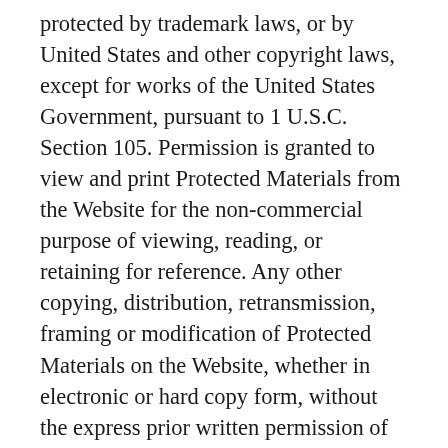protected by trademark laws, or by United States and other copyright laws, except for works of the United States Government, pursuant to 1 U.S.C. Section 105. Permission is granted to view and print Protected Materials from the Website for the non-commercial purpose of viewing, reading, or retaining for reference. Any other copying, distribution, retransmission, framing or modification of Protected Materials on the Website, whether in electronic or hard copy form, without the express prior written permission of the Lottery, is strictly prohibited. Any unauthorized use of the Website or its content shall terminate the permission granted herein without notice.